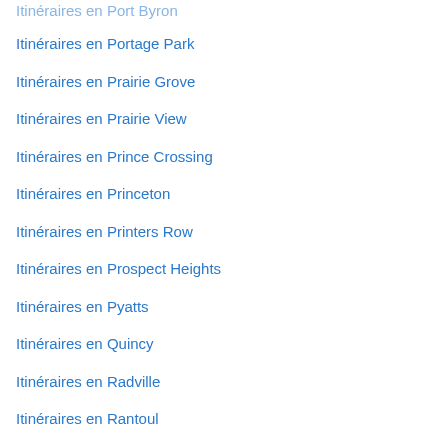Itinéraires en Port Byron
Itinéraires en Portage Park
Itinéraires en Prairie Grove
Itinéraires en Prairie View
Itinéraires en Prince Crossing
Itinéraires en Princeton
Itinéraires en Printers Row
Itinéraires en Prospect Heights
Itinéraires en Pyatts
Itinéraires en Quincy
Itinéraires en Radville
Itinéraires en Rantoul
Itinéraires en Ravenswood Gardens
Itinéraires en Red Bud